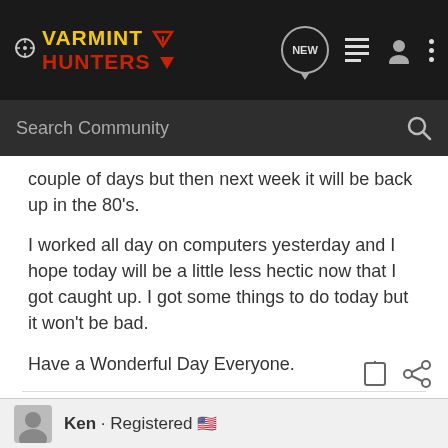VARMINT HUNTERS
couple of days but then next week it will be back up in the 80's.
I worked all day on computers yesterday and I hope today will be a little less hectic now that I got caught up. I got some things to do today but it won't be bad.
Have a Wonderful Day Everyone.
Good Shooting, George
Ken · Registered 🇺🇸